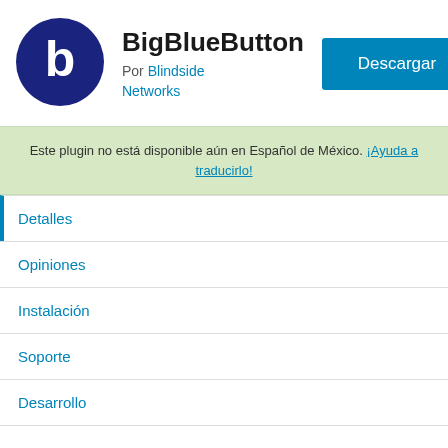[Figure (logo): BigBlueButton logo: dark navy blue circle with white letter b]
BigBlueButton
Por Blindside Networks
Descargar
Este plugin no está disponible aún en Español de México. ¡Ayuda a traducirlo!
Detalles
Opiniones
Instalación
Soporte
Desarrollo
Descripción